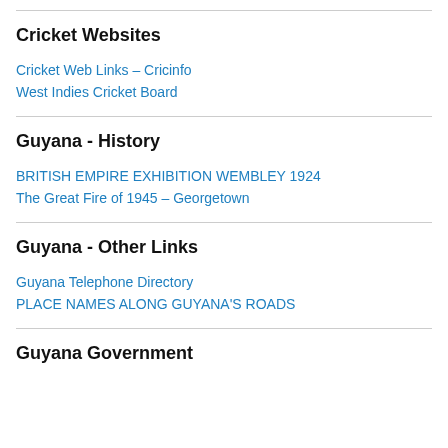Cricket Websites
Cricket Web Links – Cricinfo
West Indies Cricket Board
Guyana - History
BRITISH EMPIRE EXHIBITION WEMBLEY 1924
The Great Fire of 1945 – Georgetown
Guyana - Other Links
Guyana Telephone Directory
PLACE NAMES ALONG GUYANA'S ROADS
Guyana Government